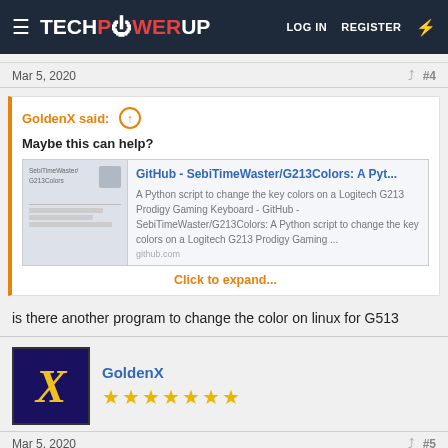TECHPOWERUP — LOG IN   REGISTER
Mar 5, 2020   #4
GoldenX said: ↑
Maybe this can help?
[Figure (screenshot): Link preview card for GitHub - SebiTimeWaster/G213Colors: A Python script to change the key colors on a Logitech G213 Prodigy Gaming Keyboard - GitHub - SebiTimeWaster/G213Colors: A Python script to change the key colors on a Logitech G213 Prodigy Gaming ... github.com — Click to expand...]
is there another program to change the color on linux for G513
GoldenX
★★★★★★★
Mar 5, 2020   #5